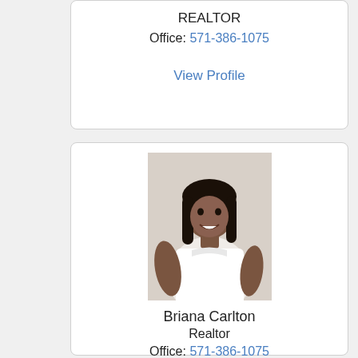REALTOR
Office: 571-386-1075
View Profile
[Figure (photo): Professional headshot of Briana Carlton, a woman with long dark hair wearing a white sleeveless top, smiling against a light background.]
Briana Carlton
Realtor
Office: 571-386-1075